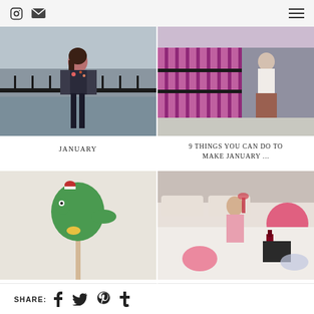Instagram icon, email icon, hamburger menu
[Figure (photo): Woman standing by river railing in dark floral top and grey cardigan]
[Figure (photo): Person in cream knit sweater standing by pink metal fence on street]
JANUARY
9 THINGS YOU CAN DO TO MAKE JANUARY ...
[Figure (photo): Green dinosaur shaped lollipop on a stick]
[Figure (photo): Woman sitting on bed with wine glass surrounded by Valentine's day items]
STOCKING FILLER GIFT GUIDE | £15 & UNDER
9 VALENTINE'S DAY DATE IDEAS (AT HOME)
SHARE: f t p t